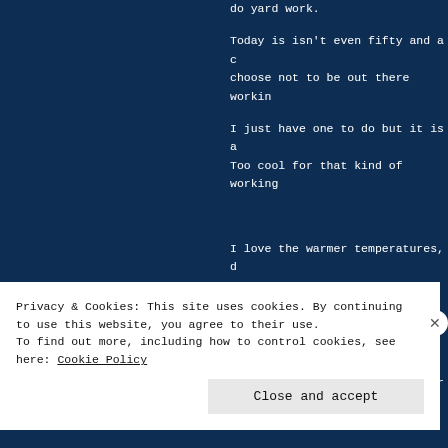do yard work.

Today is isn't even fifty and a c choose not to be out there workin

I just have one to do but it is a Too cool for that kind of working

I love the warmer temperatures, d

But 46 just isn't warm enough.

Not when we had sixties on Saturd

The days I was stuck inside for t
Privacy & Cookies: This site uses cookies. By continuing to use this website, you agree to their use. To find out more, including how to control cookies, see here: Cookie Policy
Close and accept